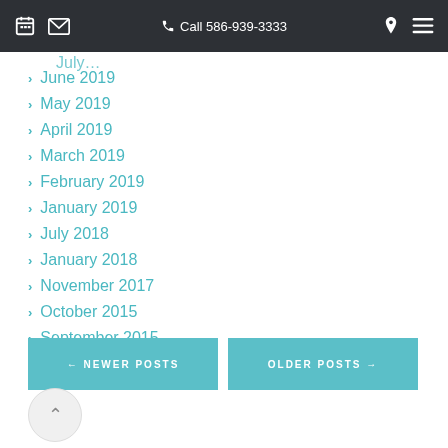Call 586-939-3333
June 2019
May 2019
April 2019
March 2019
February 2019
January 2019
July 2018
January 2018
November 2017
October 2015
September 2015
July 2015
← NEWER POSTS
OLDER POSTS →